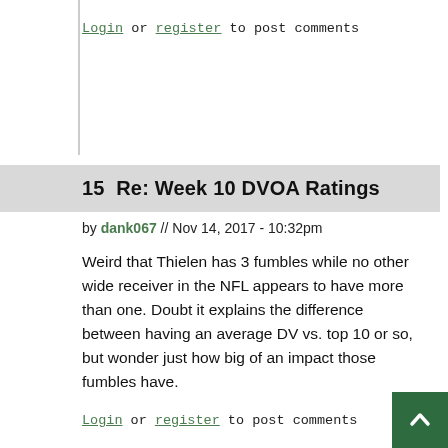Login or register to post comments
15  Re: Week 10 DVOA Ratings
by dank067 // Nov 14, 2017 - 10:32pm
Weird that Thielen has 3 fumbles while no other wide receiver in the NFL appears to have more than one. Doubt it explains the difference between having an average DV vs. top 10 or so, but wonder just how big of an impact those fumbles have.
Login or register to post comments